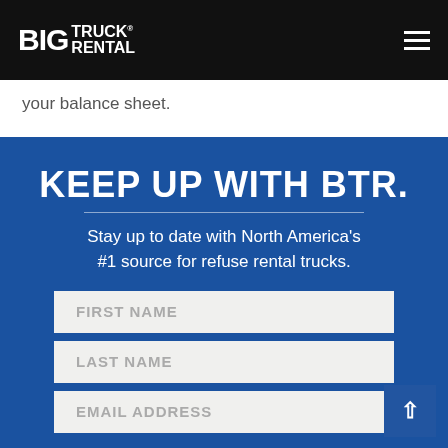BIG TRUCK RENTAL
your balance sheet.
KEEP UP WITH BTR.
Stay up to date with North America's #1 source for refuse rental trucks.
FIRST NAME
LAST NAME
EMAIL ADDRESS